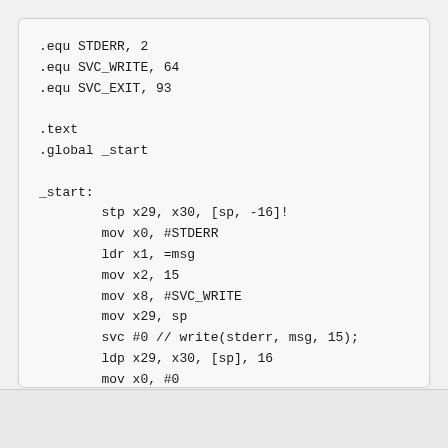.equ STDERR, 2
.equ SVC_WRITE, 64
.equ SVC_EXIT, 93

.text
.global _start

_start:
        stp x29, x30, [sp, -16]!
        mov x0, #STDERR
        ldr x1, =msg
        mov x2, 15
        mov x8, #SVC_WRITE
        mov x29, sp
        svc #0 // write(stderr, msg, 15);
        ldp x29, x30, [sp], 16
        mov x0, #0
        mov x8, #SVC_EXIT
        svc #0 // exit(0);

msg:    .ascii "Goodbye World!\n"